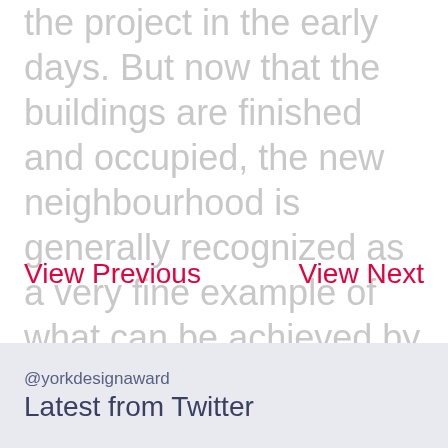the project in the early days. But now that the buildings are finished and occupied, the new neighbourhood is generally recognized as a very fine example of what can be achieved by a combination of thoughtful planning and meticulous design
View Previous
View Next
@yorkdesignaward
Latest from Twitter